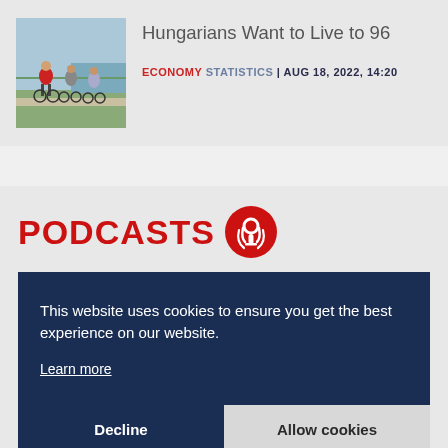[Figure (photo): People cycling along a path near a body of water, viewed from behind]
Hungarians Want to Live to 96
ECONOMY STATISTICS | AUG 18, 2022, 14:20
PODCASTS
This website uses cookies to ensure you get the best experience on our website.
Learn more
Decline    Allow cookies
transformation cloud services at T-Systems International Erik